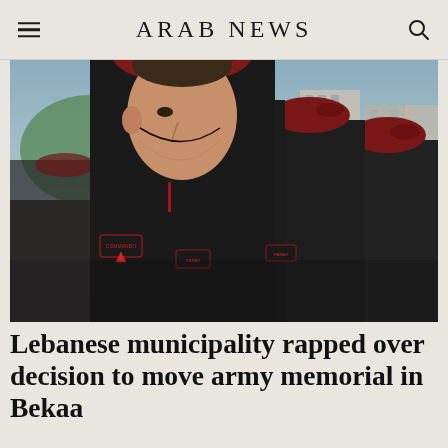ARAB NEWS
[Figure (photo): Row of Lebanese army commando soldiers in dark uniforms with maroon berets standing in formation, with buildings and trees visible in the background]
Lebanese municipality rapped over decision to move army memorial in Bekaa